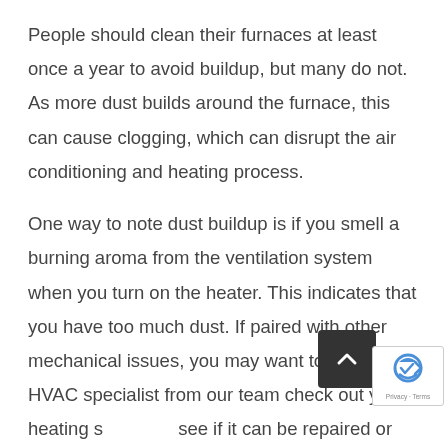People should clean their furnaces at least once a year to avoid buildup, but many do not. As more dust builds around the furnace, this can cause clogging, which can disrupt the air conditioning and heating process.
One way to note dust buildup is if you smell a burning aroma from the ventilation system when you turn on the heater. This indicates that you have too much dust. If paired with other mechanical issues, you may want to have an HVAC specialist from our team check out your heating system to see if it can be repaired or should be replaced.